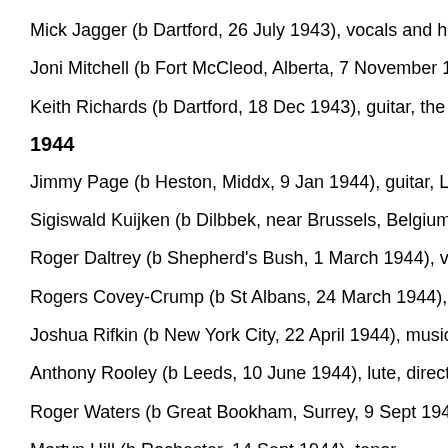Mick Jagger (b Dartford, 26 July 1943), vocals and harmonica, the
Joni Mitchell (b Fort McCleod, Alberta, 7 November 1943), guitar,
Keith Richards (b Dartford, 18 Dec 1943), guitar, the Rolling Stone
1944
Jimmy Page (b Heston, Middx, 9 Jan 1944), guitar, Led Zeppelin
Sigiswald Kuijken (b Dilbbek, near Brussels, Belgium, 16 Feb 194
Roger Daltrey (b Shepherd's Bush, 1 March 1944), vocals, The W
Rogers Covey-Crump (b St Albans, 24 March 1944), tenor
Joshua Rifkin (b New York City, 22 April 1944), musicologist, cond
Anthony Rooley (b Leeds, 10 June 1944), lute, director, the Cons
Roger Waters (b Great Bookham, Surrey, 9 Sept 1944), bass guit
Martyn Hill (b Rochester, 14 Sept 1944), tenor